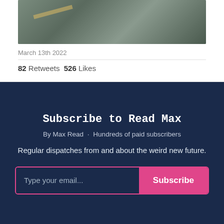[Figure (photo): Partial photo of what appears to be an animal near a tiled or brick surface, cropped at top]
March 13th 2022
82 Retweets  526 Likes
Subscribe to Read Max
By Max Read · Hundreds of paid subscribers
Regular dispatches from and about the weird new future.
Type your email...  Subscribe